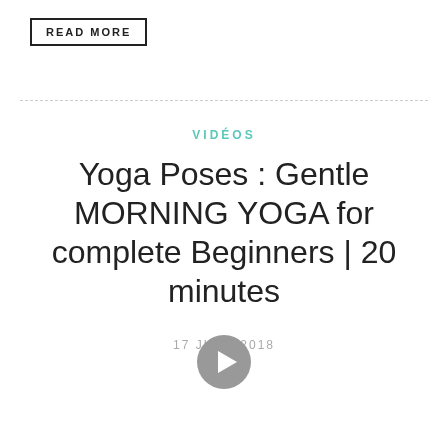READ MORE
VIDÉOS
Yoga Poses : Gentle MORNING YOGA for complete Beginners | 20 minutes
17 JUNE 2018
[Figure (illustration): Play button icon (circular grey play button)]